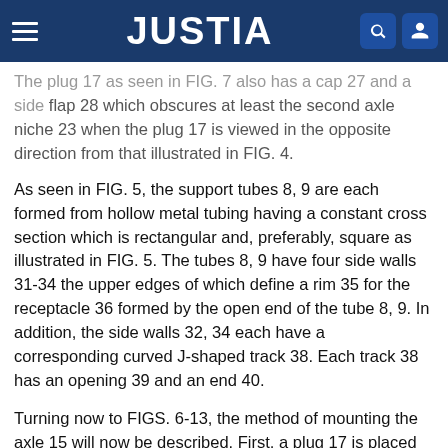JUSTIA
The plug 17 as seen in FIG. 7 also has a cap 27 and a side flap 28 which obscures at least the second axle niche 23 when the plug 17 is viewed in the opposite direction from that illustrated in FIG. 4.
As seen in FIG. 5, the support tubes 8, 9 are each formed from hollow metal tubing having a constant cross section which is rectangular and, preferably, square as illustrated in FIG. 5. The tubes 8, 9 have four side walls 31-34 the upper edges of which define a rim 35 for the receptacle 36 formed by the open end of the tube 8, 9. In addition, the side walls 32, 34 each have a corresponding curved J-shaped track 38. Each track 38 has an opening 39 and an end 40.
Turning now to FIGS. 6-13, the method of mounting the axle 15 will now be described. First, a plug 17 is placed on each end of the axle 15 so as to insert the axle 15 into